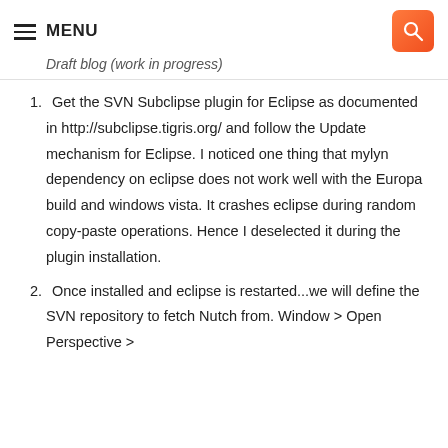≡ MENU
Draft blog (work in progress)
Get the SVN Subclipse plugin for Eclipse as documented in http://subclipse.tigris.org/ and follow the Update mechanism for Eclipse. I noticed one thing that mylyn dependency on eclipse does not work well with the Europa build and windows vista. It crashes eclipse during random copy-paste operations. Hence I deselected it during the plugin installation.
Once installed and eclipse is restarted...we will define the SVN repository to fetch Nutch from. Window > Open Perspective >